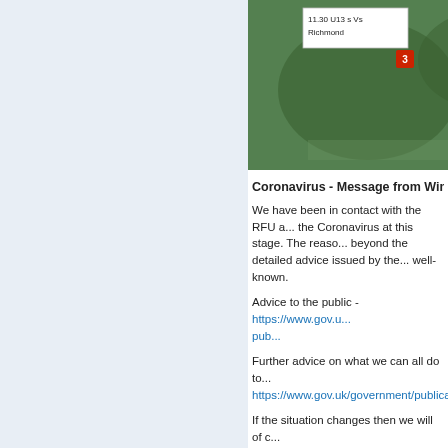[Figure (photo): Aerial/satellite map view with a white label showing '11.30 U13 s Vs Richmond' and a red marker numbered 3, partially cropped]
[Figure (table-as-image): Partially visible sidebar list showing rugby team categories: Char, U16, U16, U15, U14, U13, U13, U12, Cric]
Coronavirus - Message from Wimble...
We have been in contact with the RFU a... the Coronavirus at this stage. The reaso... beyond the detailed advice issued by the... well-known.
Advice to the public - https://www.gov.u... pub...
Further advice on what we can all do to... https://www.gov.uk/government/publica...
If the situation changes then we will of c...
Best regards
Sophie Castle and Kate Singleton
Child Welfare Officers for WMRFC